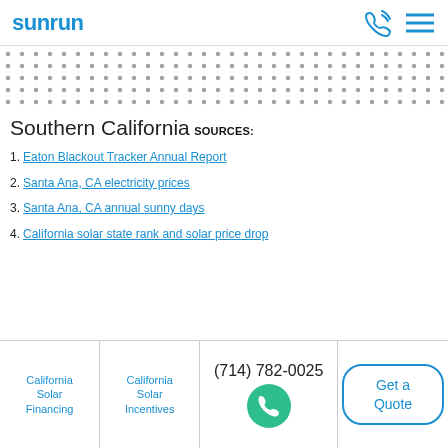sunrun
[Figure (other): Decorative dot pattern background, multiple rows of small dark dots on white background]
Southern California
SOURCES:
1. Eaton Blackout Tracker Annual Report
2. Santa Ana, CA electricity prices
3. Santa Ana, CA annual sunny days
4. California solar state rank and solar price drop
California Solar Financing | California Solar Incentives | (714) 782-0025 | Get a Quote